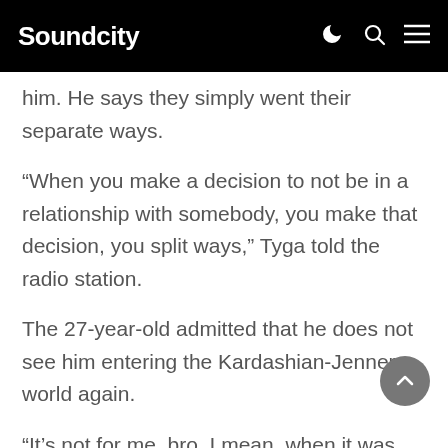Soundcity
him. He says they simply went their separate ways.
“When you make a decision to not be in a relationship with somebody, you make that decision, you split ways,” Tyga told the radio station.
The 27-year-old admitted that he does not see him entering the Kardashian-Jenner world again.
“It’s not for me, bro. I mean, when it was good, it